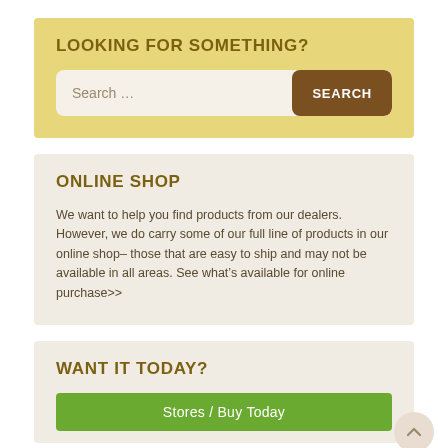LOOKING FOR SOMETHING?
Search …
SEARCH
ONLINE SHOP
We want to help you find products from our dealers. However, we do carry some of our full line of products in our online shop– those that are easy to ship and may not be available in all areas. See what's available for online purchase>>
WANT IT TODAY?
Stores / Buy Today